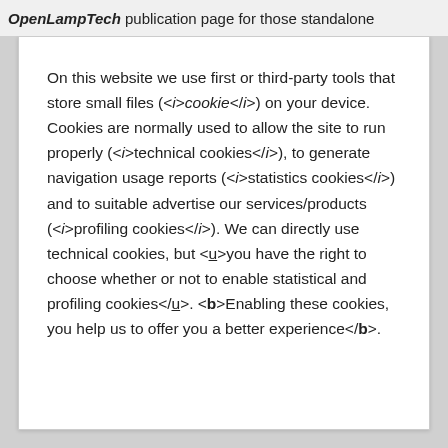OpenLampTech publication page for those standalone
On this website we use first or third-party tools that store small files (<i>cookie</i>) on your device. Cookies are normally used to allow the site to run properly (<i>technical cookies</i>), to generate navigation usage reports (<i>statistics cookies</i>) and to suitable advertise our services/products (<i>profiling cookies</i>). We can directly use technical cookies, but <u>you have the right to choose whether or not to enable statistical and profiling cookies</u>. <b>Enabling these cookies, you help us to offer you a better experience</b>.